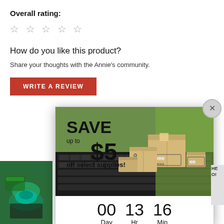Overall rating:
☆ ☆ ☆ ☆ ☆
How do you like this product?
Share your thoughts with the Annie's community.
WRITE A REVIEW
[Figure (screenshot): Popup modal showing a promotional offer: SAVE up to $5 off select supplies with a countdown timer showing 00 Day, 13 Hr, 16 Min, and a red SHOP NOW button. Background shows shipping boxes on a keyboard.]